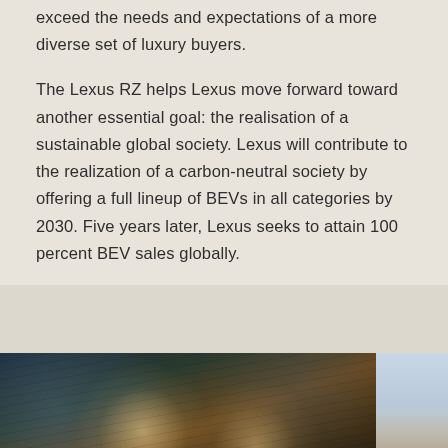exceed the needs and expectations of a more diverse set of luxury buyers.
The Lexus RZ helps Lexus move forward toward another essential goal: the realisation of a sustainable global society. Lexus will contribute to the realization of a carbon-neutral society by offering a full lineup of BEVs in all categories by 2030. Five years later, Lexus seeks to attain 100 percent BEV sales globally.
[Figure (photo): Left: dark interior architectural photo showing a wooden ceiling with recessed lights glowing warmly, bluish ambient light on left, evening atmosphere. Right: partial view of cloudy sky with mountain or landscape.]